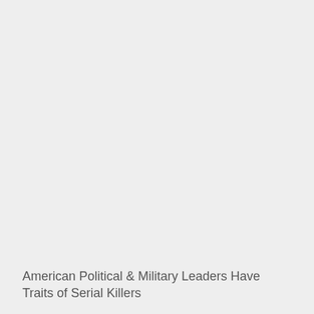American Political & Military Leaders Have Traits of Serial Killers